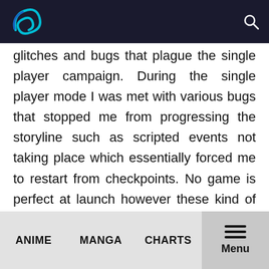[Logo] [Search icon]
glitches and bugs that plague the single player campaign. During the single player mode I was met with various bugs that stopped me from progressing the storyline such as scripted events not taking place which essentially forced me to restart from checkpoints. No game is perfect at launch however these kind of scripts which require basic programming just embarrass the developers. If the developers cannot achieve basic script programming right, how can they execute more complex programs? There have been numerous patches since the game’s
ANIME   MANGA   CHARTS   Menu